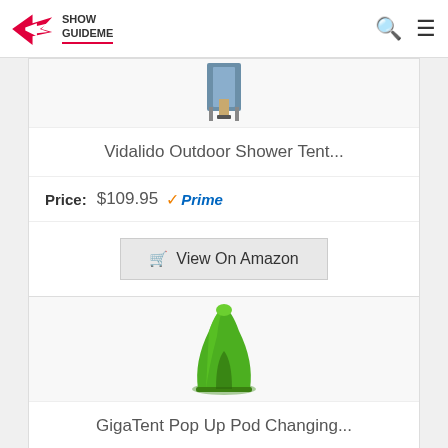[Figure (logo): ShowGuideMe logo with pink bird and text]
[Figure (photo): Vidalido Outdoor Shower Tent product image (partial, cropped)]
Vidalido Outdoor Shower Tent...
Price: $109.95 Prime
View On Amazon
[Figure (photo): GigaTent Pop Up Pod Changing tent - green popup privacy shelter]
GigaTent Pop Up Pod Changing...
Price: $26.69 Prime